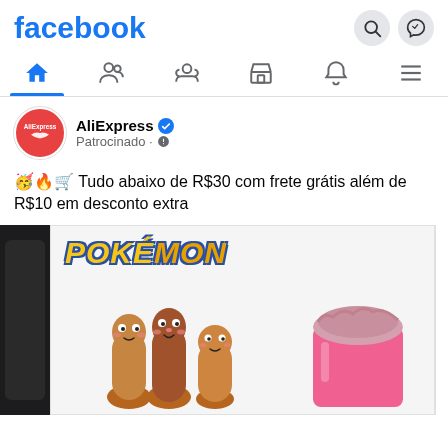facebook
[Figure (screenshot): Facebook mobile app navigation bar with home, friends, groups, marketplace, notifications, and menu icons]
AliExpress ✔ Patrocinado • ⚙
🥳🔥🛒 Tudo abaixo de R$30 com frete grátis além de R$10 em desconto extra
[Figure (photo): Product advertisement image showing Pokémon branded toys including Diglett figures and a pink container with slime, alongside a partial dark product on the left edge]